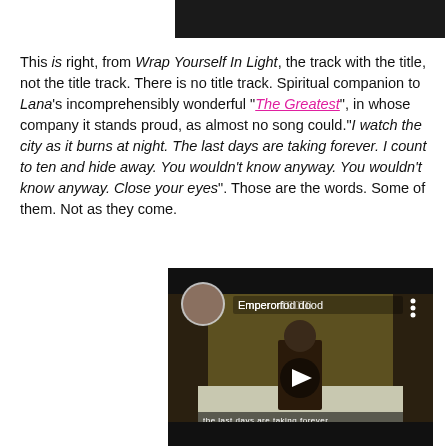[Figure (photo): Dark/black rectangular image at top, partial view of a video or photo thumbnail]
This is right, from Wrap Yourself In Light, the track with the title, not the title track. There is no title track. Spiritual companion to Lana's incomprehensibly wonderful "The Greatest", in whose company it stands proud, as almost no song could."I watch the city as it burns at night. The last days are taking forever. I count to ten and hide away. You wouldn't know anyway. You wouldn't know anyway. Close your eyes". Those are the words. Some of them. Not as they come.
[Figure (screenshot): Embedded YouTube video player showing a person standing in a snowy forest scene. Video title area shows 'Emperor' text. A play button triangle is visible in the center. Subtitle text at bottom reads 'the last days are taking forever'.]